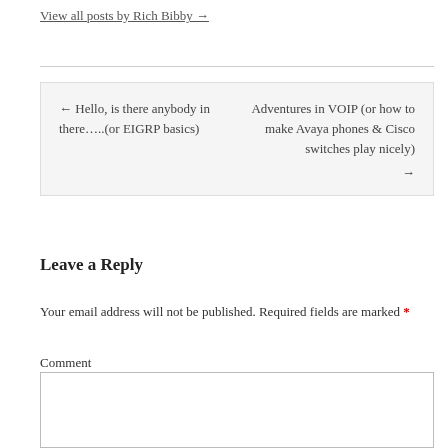View all posts by Rich Bibby →
← Hello, is there anybody in there…..(or EIGRP basics)   Adventures in VOIP (or how to make Avaya phones & Cisco switches play nicely) →
Leave a Reply
Your email address will not be published. Required fields are marked *
Comment